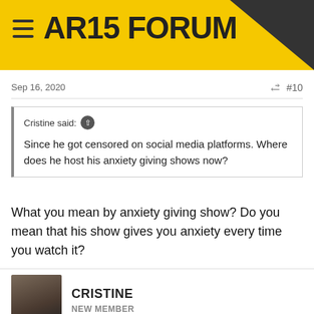AR15 FORUM
Sep 16, 2020  #10
Cristine said: ↑

Since he got censored on social media platforms. Where does he host his anxiety giving shows now?
What you mean by anxiety giving show? Do you mean that his show gives you anxiety every time you watch it?
CRISTINE
NEW MEMBER